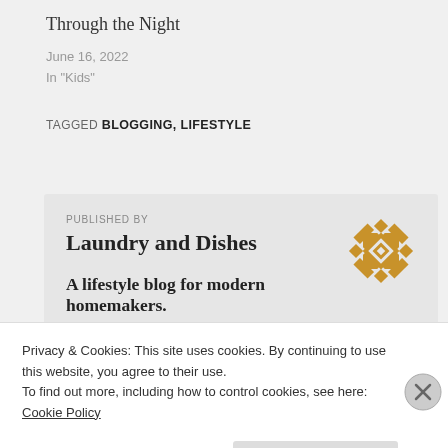Through the Night
June 16, 2022
In "Kids"
TAGGED BLOGGING, LIFESTYLE
PUBLISHED BY
Laundry and Dishes
[Figure (illustration): Decorative quilt-pattern logo icon in golden/amber color, featuring a symmetrical geometric star/snowflake pattern]
A lifestyle blog for modern homemakers.
Privacy & Cookies: This site uses cookies. By continuing to use this website, you agree to their use.
To find out more, including how to control cookies, see here: Cookie Policy
Close and accept